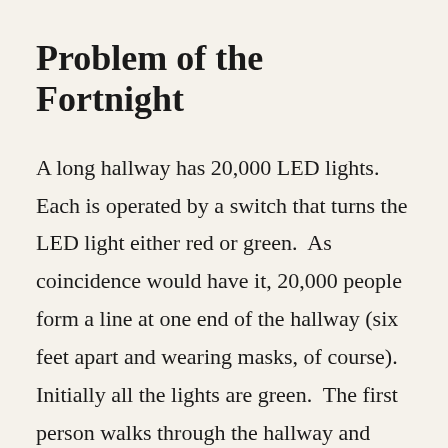Problem of the Fortnight
A long hallway has 20,000 LED lights. Each is operated by a switch that turns the LED light either red or green.  As coincidence would have it, 20,000 people form a line at one end of the hallway (six feet apart and wearing masks, of course).  Initially all the lights are green.  The first person walks through the hallway and turns each light